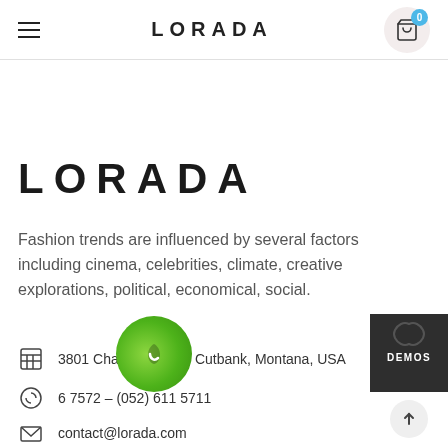LORADA
LORADA
Fashion trends are influenced by several factors including cinema, celebrities, climate, creative explorations, political, economical, social.
3801 Chalk Butte Rd, Cutbank, Montana, USA
6 7572 – (052) 611 5711
contact@lorada.com